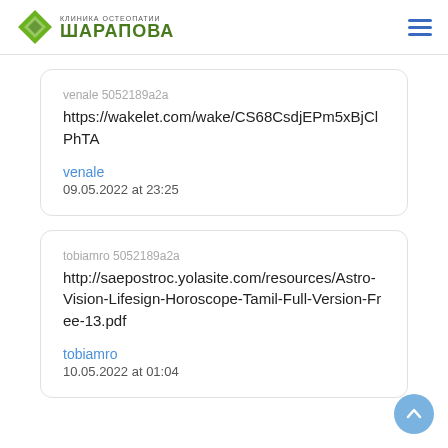КЛИНИКА ОСТЕОПАТИИ ШАРАПОВА
venale 5052189a2a
https://wakelet.com/wake/CS68CsdjEPm5xBjClPhTA
venale
09.05.2022 at 23:25
tobiamro 5052189a2a
http://saepostroc.yolasite.com/resources/Astro-Vision-Lifesign-Horoscope-Tamil-Full-Version-Free-13.pdf
tobiamro
10.05.2022 at 01:04